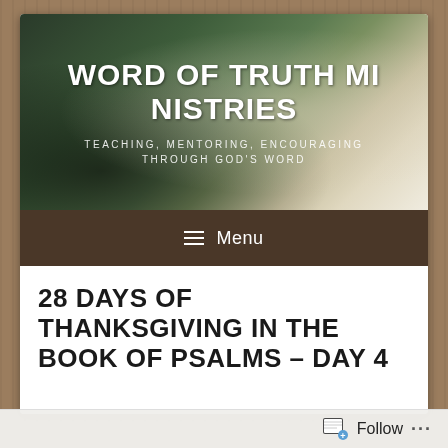[Figure (screenshot): Website banner for 'Word of Truth Ministries' with an open Bible photograph in the background. White bold text reads 'WORD OF TRUTH MINISTRIES' and subtitle 'TEACHING, MENTORING, ENCOURAGING THROUGH GOD'S WORD'.]
≡ Menu
28 DAYS OF THANKSGIVING IN THE BOOK OF PSALMS – DAY 4
Follow ...